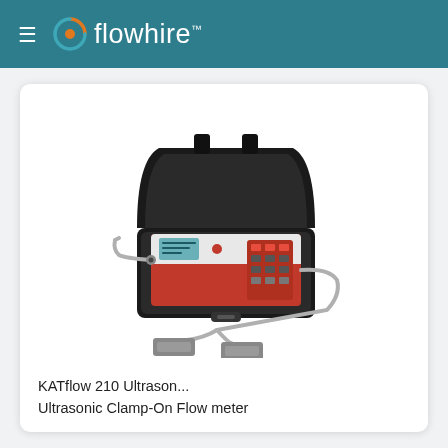flowhire
[Figure (photo): KATflow 210 Ultrasonic Clamp-On Flow meter device shown in an open black rugged carrying case with red and white instrument panel, display, keypad, and two gray ultrasonic transducers with cables attached.]
KATflow 210 Ultrason...
Ultrasonic Clamp-On Flow meter